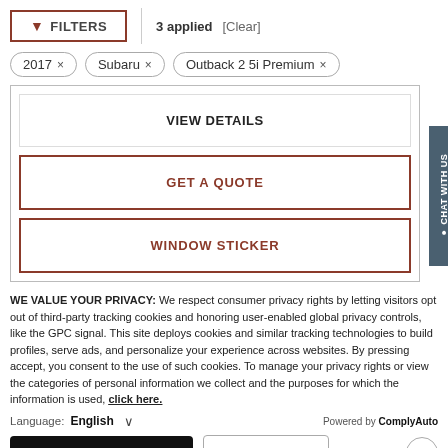[Figure (screenshot): Filter bar with FILTERS button, '3 applied' text and [Clear] link]
2017 ×
Subaru ×
Outback 2 5i Premium ×
VIEW DETAILS
GET A QUOTE
WINDOW STICKER
WE VALUE YOUR PRIVACY: We respect consumer privacy rights by letting visitors opt out of third-party tracking cookies and honoring user-enabled global privacy controls, like the GPC signal. This site deploys cookies and similar tracking technologies to build profiles, serve ads, and personalize your experience across websites. By pressing accept, you consent to the use of such cookies. To manage your privacy rights or view the categories of personal information we collect and the purposes for which the information is used, click here.
Language: English ∨   Powered by ComplyAuto
Accept and Continue →   Privacy Policy   ×